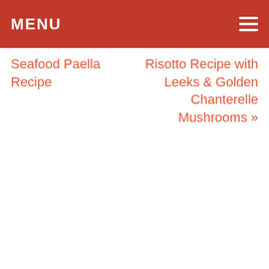MENU
Seafood Paella Recipe
Risotto Recipe with Leeks & Golden Chanterelle Mushrooms »
Comments
peter @feedyoursoultoo
July 17, 2015 at 2:44 pm